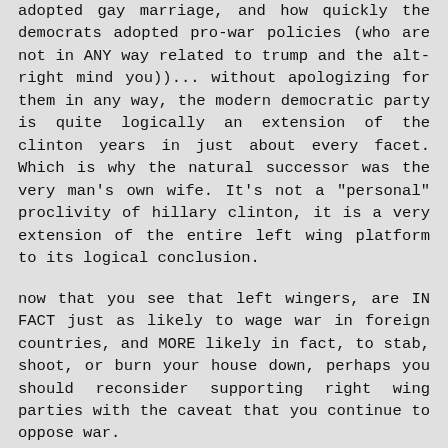adopted gay marriage, and how quickly the democrats adopted pro-war policies (who are not in ANY way related to trump and the alt-right mind you))... without apologizing for them in any way, the modern democratic party is quite logically an extension of the clinton years in just about every facet. Which is why the natural successor was the very man's own wife. It's not a "personal" proclivity of hillary clinton, it is a very extension of the entire left wing platform to its logical conclusion.
now that you see that left wingers, are IN FACT just as likely to wage war in foreign countries, and MORE likely in fact, to stab, shoot, or burn your house down, perhaps you should reconsider supporting right wing parties with the caveat that you continue to oppose war.
I guarantee you a lot of those conservatives are smarter than you. Which is why they voted left for 30 years, complaining that this very situation today would emerge, and they predicted it correctly. Which is a far cry from anything the leftists managed to predict.
If you really abhor what hte left is doing, you need to